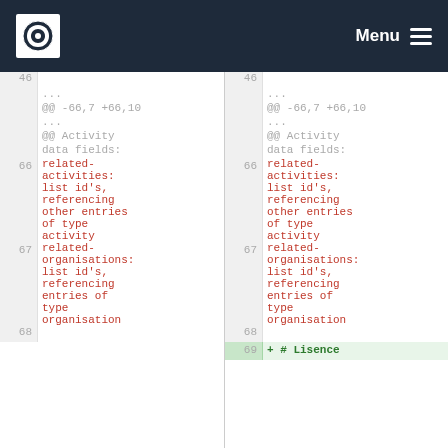Menu
[Figure (screenshot): Diff view of a code/YAML file showing two panes side by side. Left pane and right pane both show line numbers 46, ..., 66, 67, 68. Right pane also shows line 69 added with '+ # Lisence'. Content shows related-activities and related-organisations fields in red monospace text.]